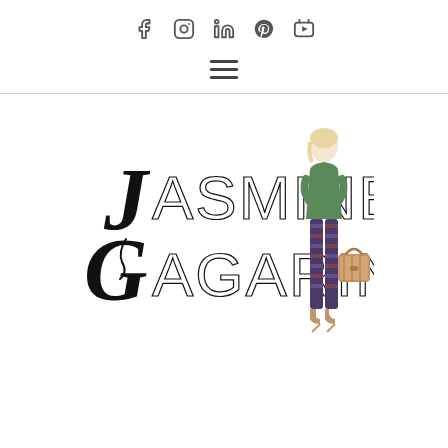Social media icons: Facebook, Instagram, LinkedIn, Pinterest, YouTube
[Figure (logo): Hamburger menu icon (three horizontal lines)]
[Figure (logo): Jasmine Gagarin brand logo with stylized text and fashion illustration of a woman in green jacket and patterned pants carrying a brown bag]